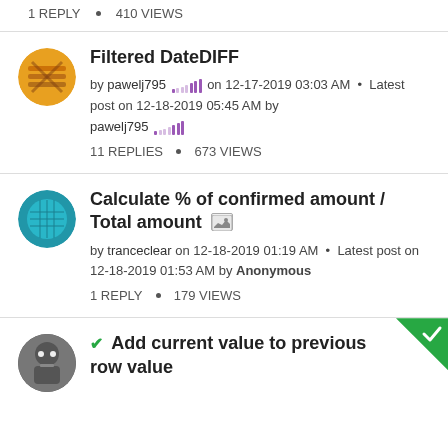1 REPLY • 410 VIEWS
Filtered DateDIFF
by pawelj795 on 12-17-2019 03:03 AM • Latest post on 12-18-2019 05:45 AM by pawelj795
11 REPLIES • 673 VIEWS
Calculate % of confirmed amount / Total amount
by tranceclear on 12-18-2019 01:19 AM • Latest post on 12-18-2019 01:53 AM by Anonymous
1 REPLY • 179 VIEWS
Add current value to previous row value